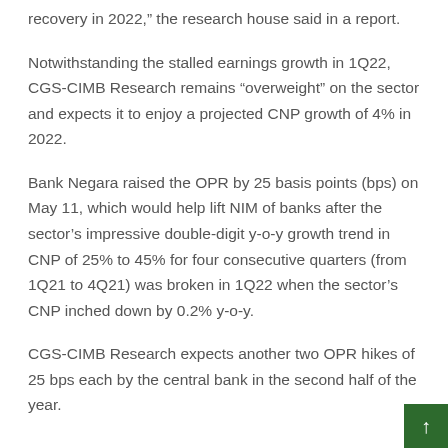recovery in 2022,” the research house said in a report.
Notwithstanding the stalled earnings growth in 1Q22, CGS-CIMB Research remains “overweight” on the sector and expects it to enjoy a projected CNP growth of 4% in 2022.
Bank Negara raised the OPR by 25 basis points (bps) on May 11, which would help lift NIM of banks after the sector’s impressive double-digit y-o-y growth trend in CNP of 25% to 45% for four consecutive quarters (from 1Q21 to 4Q21) was broken in 1Q22 when the sector’s CNP inched down by 0.2% y-o-y.
CGS-CIMB Research expects another two OPR hikes of 25 bps each by the central bank in the second half of the year.